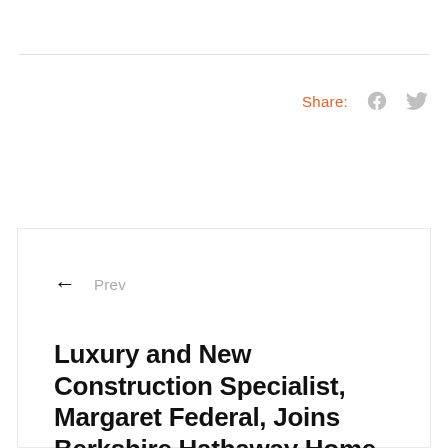Share:
Prev
Luxury and New Construction Specialist, Margaret Federal, Joins Berkshire Hathaway Home Services